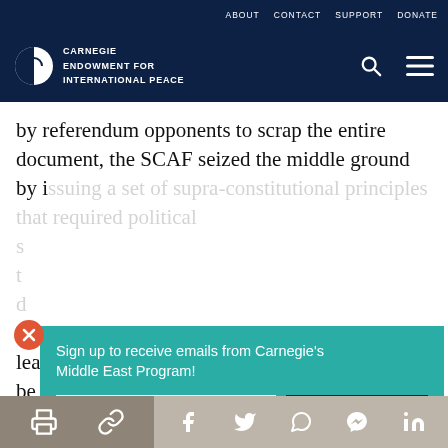ABOUT  CONTACT  SUPPORT  DONATE
[Figure (logo): Carnegie Endowment for International Peace logo with navigation bar on dark navy background]
by referendum opponents to scrap the entire document, the SCAF seized the middle ground by issuing a set of supra-constitutional principles that required political leadership to be elected and a new constitution to be written.
[Figure (infographic): Email signup popup overlay: 'Sign up to receive emails from Carnegie’s Middle East Program!' with email input field and SUBMIT button]
Share icons: print, link, Facebook, Twitter, WhatsApp, Messenger, LinkedIn